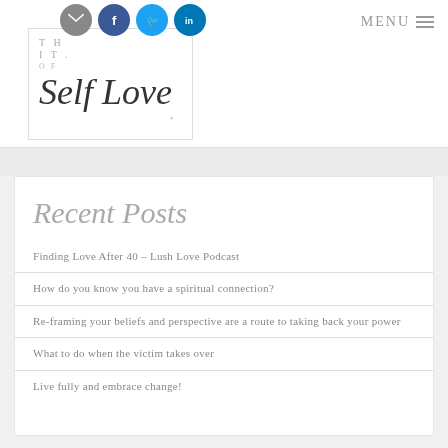THE [LOGO] OF Self Love — MENU
Recent Posts
Finding Love After 40 – Lush Love Podcast
How do you know you have a spiritual connection?
Re-framing your beliefs and perspective are a route to taking back your power
What to do when the victim takes over
Live fully and embrace change!